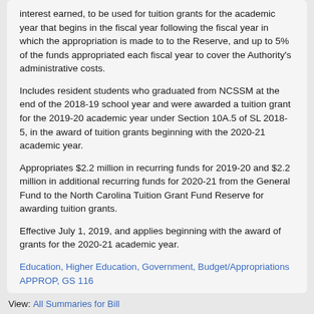interest earned, to be used for tuition grants for the academic year that begins in the fiscal year following the fiscal year in which the appropriation is made to to the Reserve, and up to 5% of the funds appropriated each fiscal year to cover the Authority's administrative costs.
Includes resident students who graduated from NCSSM at the end of the 2018-19 school year and were awarded a tuition grant for the 2019-20 academic year under Section 10A.5 of SL 2018-5, in the award of tuition grants beginning with the 2020-21 academic year.
Appropriates $2.2 million in recurring funds for 2019-20 and $2.2 million in additional recurring funds for 2020-21 from the General Fund to the North Carolina Tuition Grant Fund Reserve for awarding tuition grants.
Effective July 1, 2019, and applies beginning with the award of grants for the 2020-21 academic year.
Education, Higher Education, Government, Budget/Appropriations APPROP, GS 116
View: All Summaries for Bill